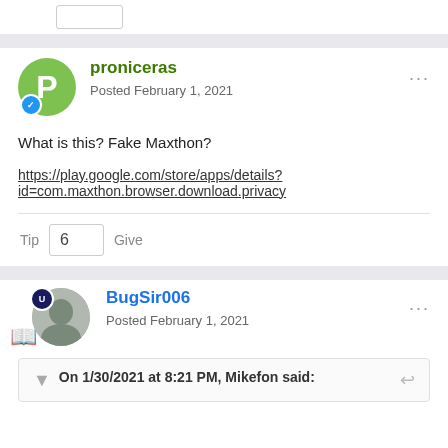proniceras
Posted February 1, 2021
What is this? Fake Maxthon?
https://play.google.com/store/apps/details?id=com.maxthon.browser.download.privacy
Tip  6  Give
BugSir006
Posted February 1, 2021
On 1/30/2021 at 8:21 PM, Mikefon said: